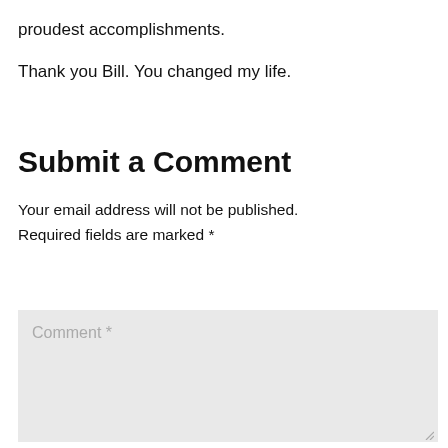proudest accomplishments.
Thank you Bill.  You changed my life.
Submit a Comment
Your email address will not be published. Required fields are marked *
Comment *